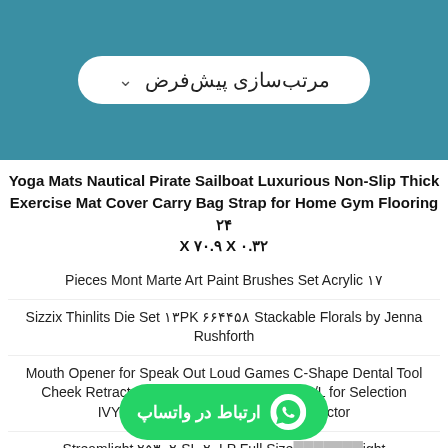[Figure (screenshot): Teal/blue-green top bar with a white rounded sort button labeled 'مرتب‌سازی پیش‌فرض' with a chevron]
Yoga Mats Nautical Pirate Sailboat Luxurious Non-Slip Thick Exercise Mat Cover Carry Bag Strap for Home Gym Flooring ۲۴ X ۷۰.۹ X ۰.۳۲
Pieces Mont Marte Art Paint Brushes Set Acrylic ۱۷
Sizzix Thinlits Die Set ۱۳PK ۶۶۴۴۵۸ Stackable Florals by Jenna Rushforth
Mouth Opener for Speak Out Loud Games C-Shape Dental Tool Cheek Retractor Party Game Toys Size S/M/L for Selection IVYRISE ۱۵ PCS Mouthpieces Retractor
Streamlight ۲۵۳۰۲ SL-۲۰LP Full Size ... light ... black
[Figure (screenshot): WhatsApp contact button: green rounded bar with WhatsApp icon and text 'ارتباط در واتساپ']